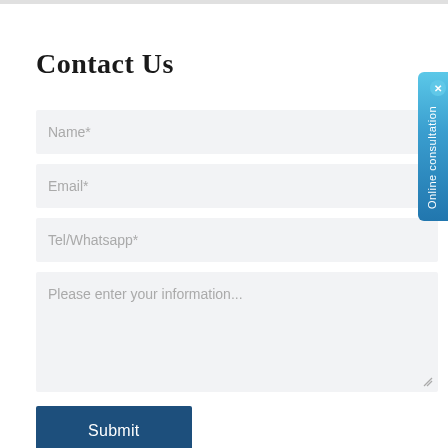Contact Us
Name*
Email*
Tel/Whatsapp*
Please enter your information...
Submit
[Figure (screenshot): Online consultation sidebar tab button with close X button at top right, blue gradient background, vertical text reading 'Online consultation']